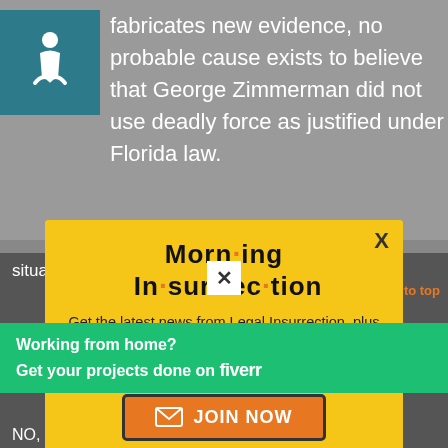fabricates new evidence, no probable cause exists to believe that George Zimmerman did not use deadly force as justified under Florida law.
[Figure (other): Wheelchair accessibility icon in teal/blue square]
Morn·ing In·sur·rec·tion
Get the latest news from Legal Insurrection, plus exclusive content, direct to your inbox every morning. Subscribe today – it's free!
JOIN NOW
situation to you, then ask you a
back to top
Working from home?
Get your projects done on fiverr
NO, then you can expound on that